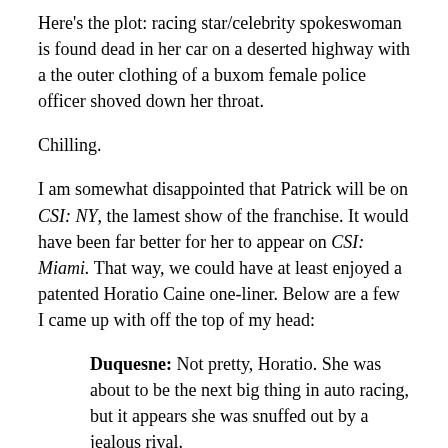Here's the plot: racing star/celebrity spokeswoman is found dead in her car on a deserted highway with a the outer clothing of a buxom female police officer shoved down her throat.
Chilling.
I am somewhat disappointed that Patrick will be on CSI: NY, the lamest show of the franchise. It would have been far better for her to appear on CSI: Miami. That way, we could have at least enjoyed a patented Horatio Caine one-liner. Below are a few I came up with off the top of my head:
Duquesne: Not pretty, Horatio. She was about to be the next big thing in auto racing, but it appears she was snuffed out by a jealous rival.
Horatio: You know what they say...
(takes off sunglasses)